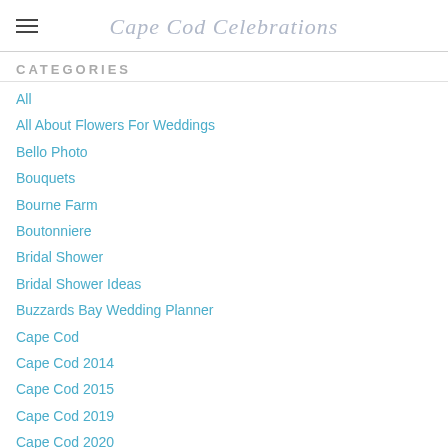Cape Cod Celebrations
CATEGORIES
All
All About Flowers For Weddings
Bello Photo
Bouquets
Bourne Farm
Boutonniere
Bridal Shower
Bridal Shower Ideas
Buzzards Bay Wedding Planner
Cape Cod
Cape Cod 2014
Cape Cod 2015
Cape Cod 2019
Cape Cod 2020
Cape Cod At Home Wedding
Cape Cod Backyard Wedding
Cape Cod Beach Ceremony